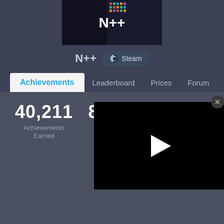[Figure (screenshot): N++ game banner image with colorful pixel art background and dark ninja character]
N++
[Figure (logo): Steam platform button with Steam logo icon]
Achievements
Leaderboard
Prices
Forum
40,211
Achievements Earned
8,951
Players Tr
33
[Figure (screenshot): Video player overlay with black background and white play button triangle, with close X button]